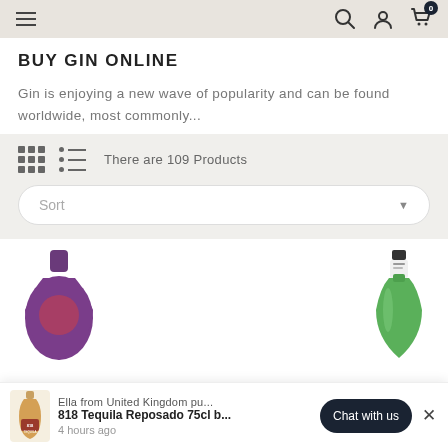Navigation bar with hamburger menu, search, account, and cart icons
BUY GIN ONLINE
Gin is enjoying a new wave of popularity and can be found worldwide, most commonly...
There are 109 Products
Sort
[Figure (photo): Two spirit/liquor bottles partially visible: a purple/violet bottle on the left and a green bottle on the right]
Ella from United Kingdom pu...
818 Tequila Reposado 75cl b...
4 hours ago
Chat with us